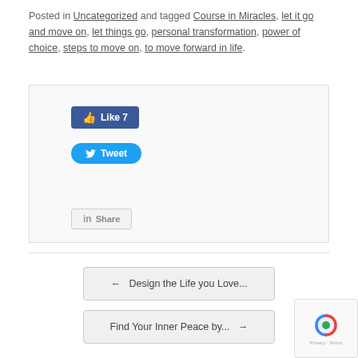Posted in Uncategorized and tagged Course in Miracles, let it go and move on, let things go, personal transformation, power of choice, steps to move on, to move forward in life.
[Figure (screenshot): Social sharing buttons box containing Facebook Like (7), Tweet, and LinkedIn Share buttons]
← Design the Life you Love...
Find Your Inner Peace by... →